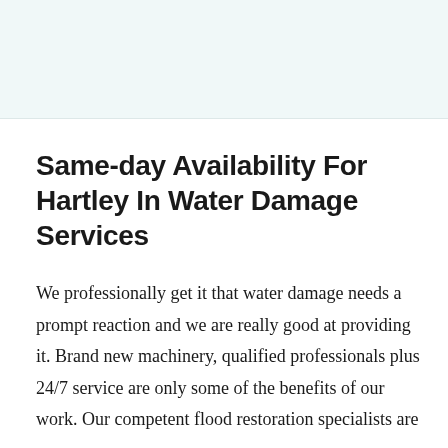[Figure (photo): Light blue/teal tinted rectangular image placeholder at the top of the page]
Same-day Availability For Hartley In Water Damage Services
We professionally get it that water damage needs a prompt reaction and we are really good at providing it. Brand new machinery, qualified professionals plus 24/7 service are only some of the benefits of our work. Our competent flood restoration specialists are